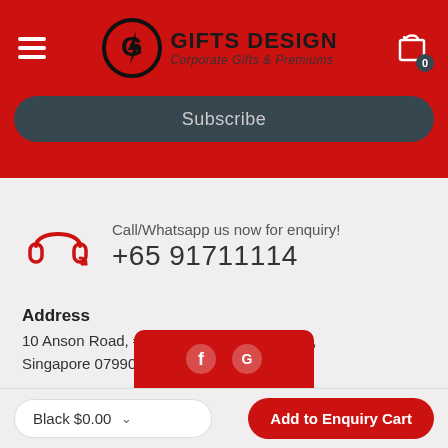[Figure (logo): Gifts Design logo with circular G icon, brand name and tagline Corporate Gifts & Premiums]
Subscribe
[Figure (illustration): Red headphone/headset icon]
Call/Whatsapp us now for enquiry!
+65 91711114
Address
10 Anson Road, #27-15, International Plaza, Singapore 079903
[Figure (illustration): Social media icons (Facebook, Google) on red background overlay]
Black $0.00
Add to Enquiry Cart